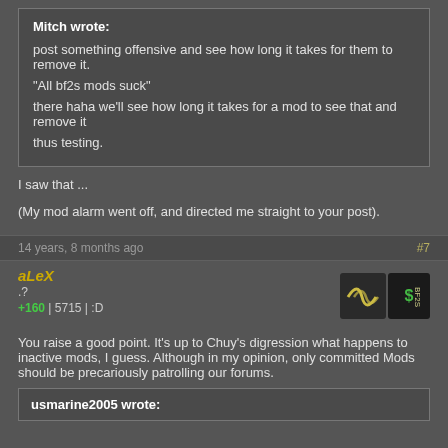Mitch wrote:
post something offensive and see how long it takes for them to remove it.
"All bf2s mods suck"
there haha we'll see how long it takes for a mod to see that and remove it
thus testing.

I saw that ...

(My mod alarm went off, and directed me straight to your post).
14 years, 8 months ago    #7
aLeX
.?
+160 | 5715 | :D
[Figure (logo): Two forum badges: a dark badge with golden curved lines pattern, and a dark badge with a green dollar sign and BF2S text]
You raise a good point. It's up to Chuy's digression what happens to inactive mods, I guess. Although in my opinion, only committed Mods should be precariously patrolling our forums.

usmarine2005 wrote: